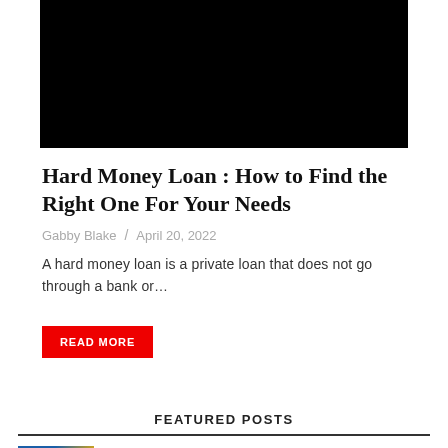[Figure (photo): Black rectangle representing a video or image placeholder at the top of the article]
Hard Money Loan : How to Find the Right One For Your Needs
Gabby Blake / April 20, 2022
A hard money loan is a private loan that does not go through a bank or...
READ MORE
FEATURED POSTS
Who will win the battle?